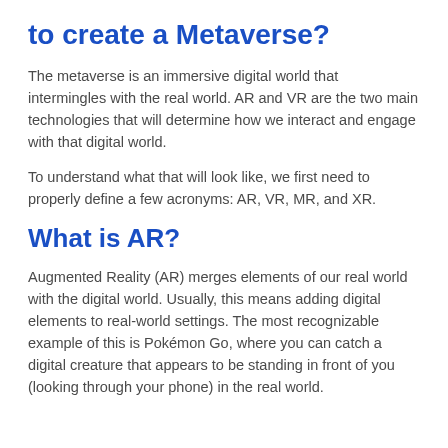to create a Metaverse?
The metaverse is an immersive digital world that intermingles with the real world. AR and VR are the two main technologies that will determine how we interact and engage with that digital world.
To understand what that will look like, we first need to properly define a few acronyms: AR, VR, MR, and XR.
What is AR?
Augmented Reality (AR) merges elements of our real world with the digital world. Usually, this means adding digital elements to real-world settings. The most recognizable example of this is Pokémon Go, where you can catch a digital creature that appears to be standing in front of you (looking through your phone) in the real world.